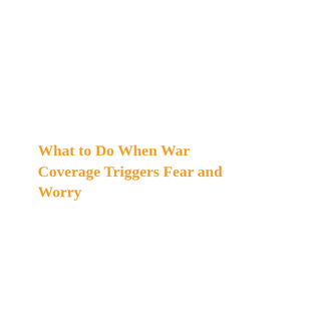What to Do When War Coverage Triggers Fear and Worry